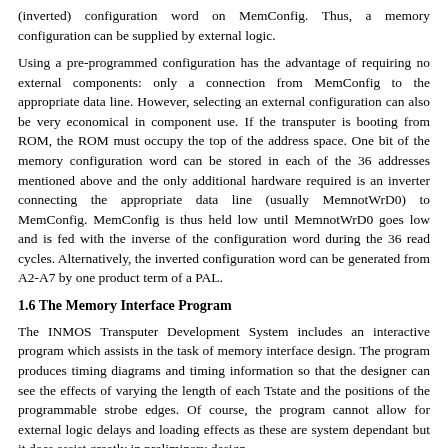(inverted) configuration word on MemConfig. Thus, a memory configuration can be supplied by external logic.
Using a pre-programmed configuration has the advantage of requiring no external components: only a connection from MemConfig to the appropriate data line. However, selecting an external configuration can also be very economical in component use. If the transputer is booting from ROM, the ROM must occupy the top of the address space. One bit of the memory configuration word can be stored in each of the 36 addresses mentioned above and the only additional hardware required is an inverter connecting the appropriate data line (usually MemnotWrD0) to MemConfig. MemConfig is thus held low until MemnotWrD0 goes low and is fed with the inverse of the configuration word during the 36 read cycles. Alternatively, the inverted configuration word can be generated from A2-A7 by one product term of a PAL.
1.6 The Memory Interface Program
The INMOS Transputer Development System includes an interactive program which assists in the task of memory interface design. The program produces timing diagrams and timing information so that the designer can see the effects of varying the length of each Tstate and the positions of the programmable strobe edges. Of course, the program cannot allow for external logic delays and loading effects as these are system dependant but it does assist greatly in preliminary design.
2 Basic Considerations in Memory Design
2.1 Minimum memory interface cycle time